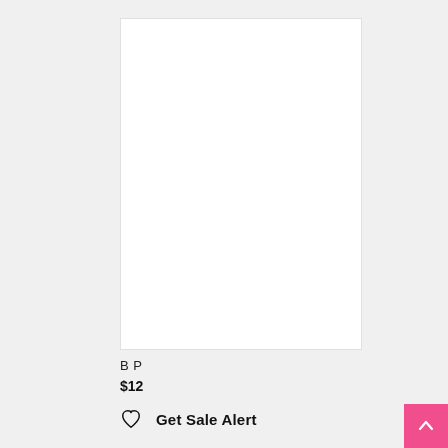[Figure (other): White blank product image placeholder with light border]
B P
$12
Get Sale Alert